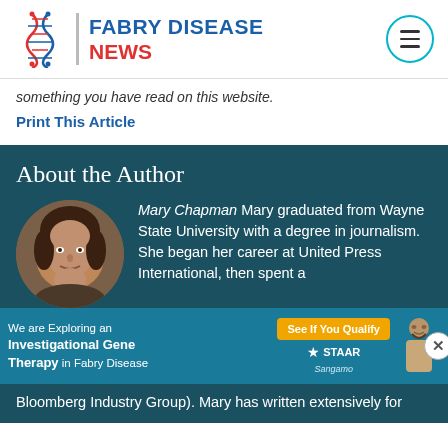FABRY DISEASE NEWS
something you have read on this website.
Print This Article
About the Author
[Figure (photo): Circular headshot photo of Mary Chapman]
Mary Chapman Mary graduated from Wayne State University with a degree in journalism. She began her career at United Press International, then spent a
[Figure (infographic): Advertisement banner: We are Exploring an Investigational Gene Therapy in Fabry Disease. See If You Qualify. STAAR Sangamo.]
Bloomberg Industry Group). Mary has written extensively for